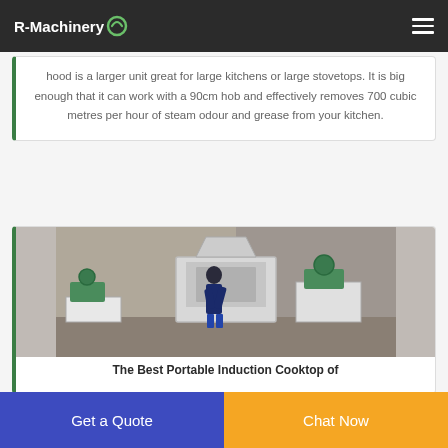R-Machinery
hood is a larger unit great for large kitchens or large stovetops. It is big enough that it can work with a 90cm hob and effectively removes 700 cubic metres per hour of steam odour and grease from your kitchen.
[Figure (photo): A worker operating or inspecting industrial shredding/crushing machinery in a factory setting. Large green and grey machines visible.]
The Best Portable Induction Cooktop of
Get a Quote
Chat Now